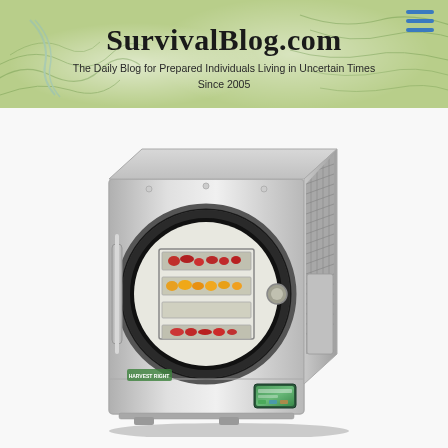SurvivalBlog.com — The Daily Blog for Prepared Individuals Living in Uncertain Times Since 2005
[Figure (photo): Stainless steel home freeze dryer machine with circular door open showing multiple trays loaded with food items including red meats and yellow/orange fruits. The unit has a digital control panel display at the bottom right and a ventilation panel on the right side.]